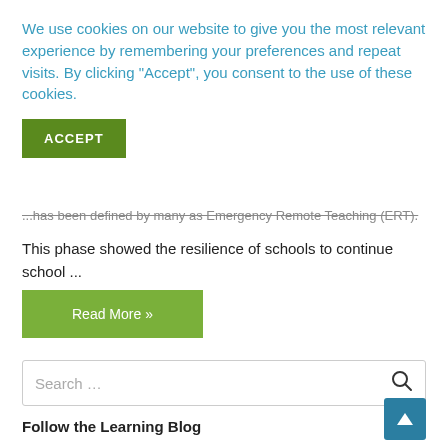We use cookies on our website to give you the most relevant experience by remembering your preferences and repeat visits. By clicking “Accept”, you consent to the use of these cookies.
ACCEPT
...has been defined by many as Emergency Remote Teaching (ERT).
This phase showed the resilience of schools to continue school ...
Read More »
Search …
Follow the Learning Blog